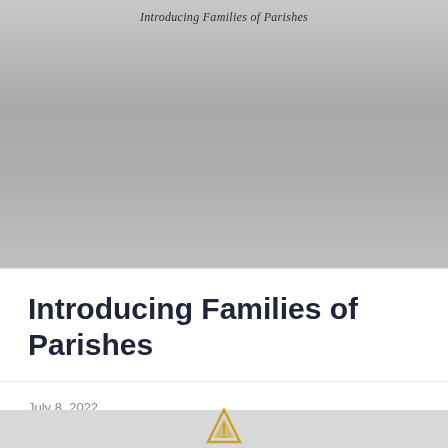[Figure (illustration): Gray gradient background area with italic subtitle text 'Introducing Families of Parishes' overlaid at the top]
Introducing Families of Parishes
July 8, 2022
[Figure (logo): Partial triangle/arrow logo at bottom center on gray background]